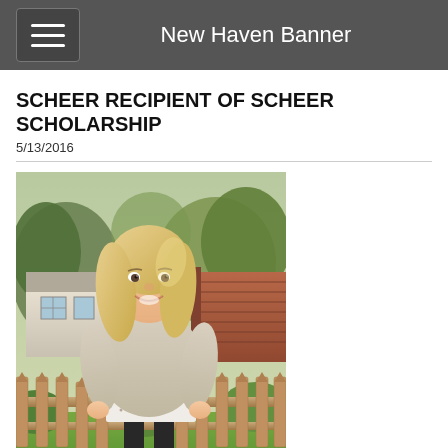New Haven Banner
SCHEER RECIPIENT OF SCHEER SCHOLARSHIP
5/13/2016
[Figure (photo): Young blonde woman smiling, standing in front of a wooden picket fence with a garden and house in the background, wearing a beige sweater with lace trim.]